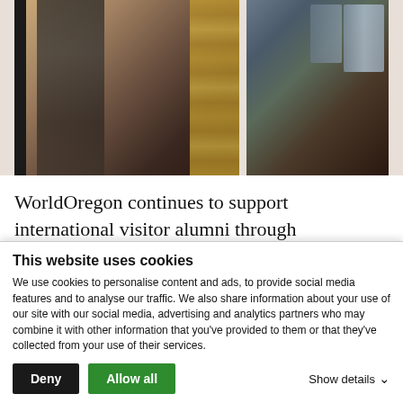[Figure (photo): Two photos side by side: left photo shows two people in a workshop/store with shelves of supplies; right photo shows a person working with materials in a workshop setting.]
WorldOregon continues to support international visitor alumni through educational efforts to connect them with
This website uses cookies
We use cookies to personalise content and ads, to provide social media features and to analyse our traffic. We also share information about your use of our site with our social media, advertising and analytics partners who may combine it with other information that you've provided to them or that they've collected from your use of their services.